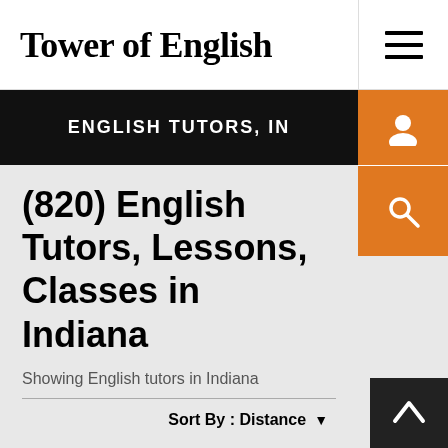Tower of English
ENGLISH TUTORS, IN
(820) English Tutors, Lessons, Classes in Indiana
Showing English tutors in Indiana
Sort By : Distance
English teacher in indianapolis | Danielle K.